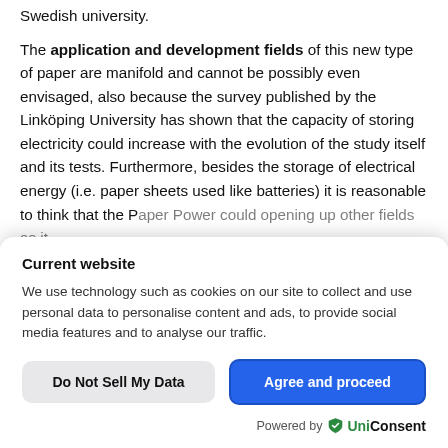Swedish university. The application and development fields of this new type of paper are manifold and cannot be possibly even envisaged, also because the survey published by the Linköping University has shown that the capacity of storing electricity could increase with the evolution of the study itself and its tests. Furthermore, besides the storage of electrical energy (i.e. paper sheets used like batteries) it is reasonable to think that the Paper Power could opening up other fields as it
Current website
We use technology such as cookies on our site to collect and use personal data to personalise content and ads, to provide social media features and to analyse our traffic.
Do Not Sell My Data
Agree and proceed
Powered by UniConsent